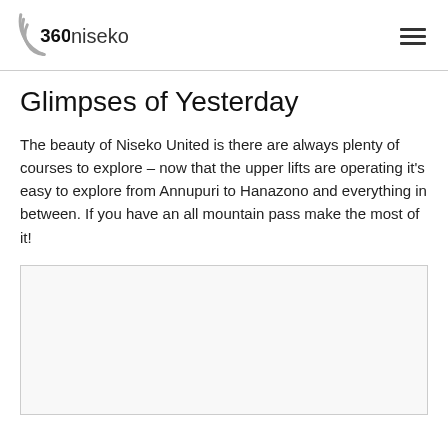360niseko
Glimpses of Yesterday
The beauty of Niseko United is there are always plenty of courses to explore – now that the upper lifts are operating it's easy to explore from Annupuri to Hanazono and everything in between. If you have an all mountain pass make the most of it!
[Figure (photo): A large blank/white image placeholder area with a light border, partially visible at bottom of page]